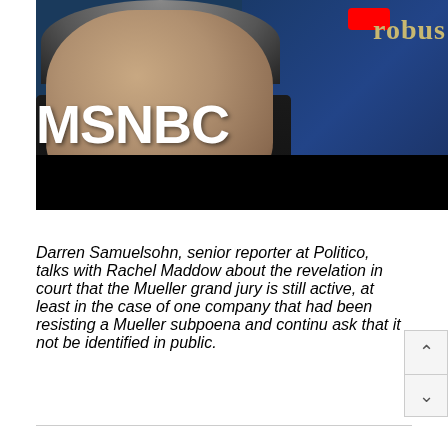[Figure (screenshot): MSNBC video thumbnail showing a woman in a black jacket against a dark blue studio background. The MSNBC logo appears in large white bold letters. A red YouTube button is visible in the upper right area, along with partial gold/tan text reading 'robus'. The bottom portion of the thumbnail is a black bar.]
Darren Samuelsohn, senior reporter at Politico, talks with Rachel Maddow about the revelation in court that the Mueller grand jury is still active, at least in the case of one company that had been resisting a Mueller subpoena and continu ask that it not be identified in public.